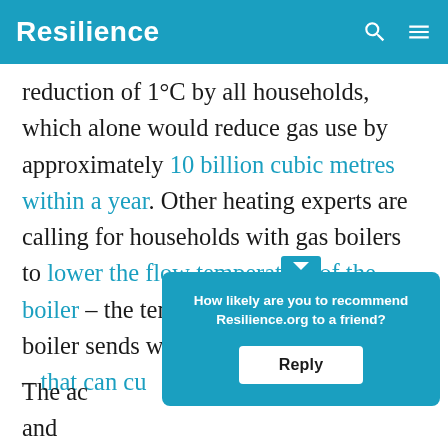Resilience
reduction of 1°C by all households, which alone would reduce gas use by approximately 10 billion cubic metres within a year. Other heating experts are calling for households with gas boilers to lower the flow temperature of the boiler – the temperature at which the boiler sends water through the radiators – that can cu[t gas use]
How likely are you to recommend Resilience.org to a friend? Reply
The ac[tion] – and